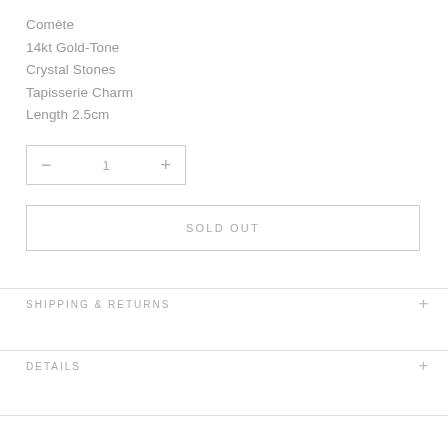Comète
14kt Gold-Tone
Crystal Stones
Tapisserie Charm
Length 2.5cm
− 1 +
SOLD OUT
SHIPPING & RETURNS
DETAILS